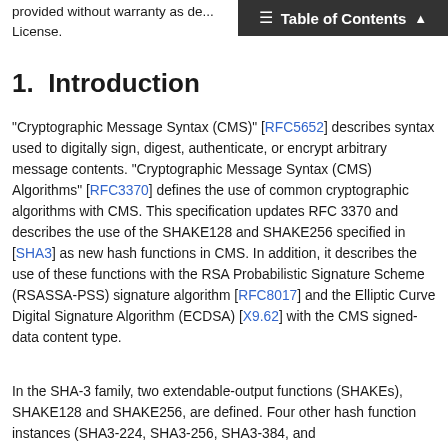provided without warranty as described in the Simplified BSD License.
Table of Contents
1.  Introduction
"Cryptographic Message Syntax (CMS)" [RFC5652] describes syntax used to digitally sign, digest, authenticate, or encrypt arbitrary message contents. "Cryptographic Message Syntax (CMS) Algorithms" [RFC3370] defines the use of common cryptographic algorithms with CMS. This specification updates RFC 3370 and describes the use of the SHAKE128 and SHAKE256 specified in [SHA3] as new hash functions in CMS. In addition, it describes the use of these functions with the RSA Probabilistic Signature Scheme (RSASSA-PSS) signature algorithm [RFC8017] and the Elliptic Curve Digital Signature Algorithm (ECDSA) [X9.62] with the CMS signed-data content type.
In the SHA-3 family, two extendable-output functions (SHAKEs), SHAKE128 and SHAKE256, are defined. Four other hash function instances (SHA3-224, SHA3-256, SHA3-384, and